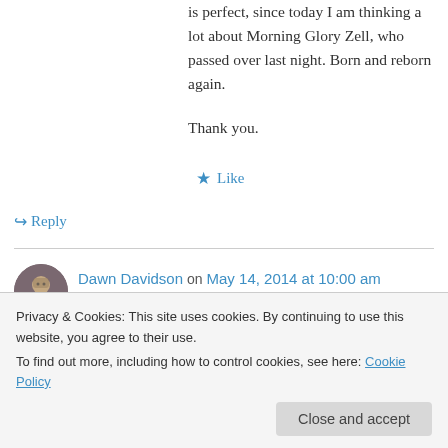is perfect, since today I am thinking a lot about Morning Glory Zell, who passed over last night. Born and reborn again.
Thank you.
★ Like
↪ Reply
Dawn Davidson on May 14, 2014 at 10:00 am
Ah, the version I heard and know so well is by
Privacy & Cookies: This site uses cookies. By continuing to use this website, you agree to their use.
To find out more, including how to control cookies, see here: Cookie Policy
Close and accept
Shaina Noll – How Could Anyone – lyrics by